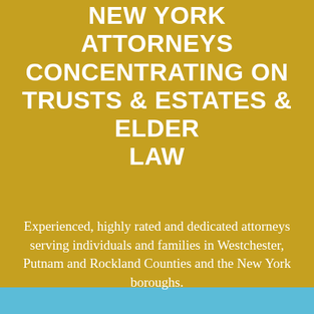NEW YORK ATTORNEYS CONCENTRATING ON TRUSTS & ESTATES & ELDER LAW
Experienced, highly rated and dedicated attorneys serving individuals and families in Westchester, Putnam and Rockland Counties and the New York boroughs.
SCHEDULE AN APPOINTMENT